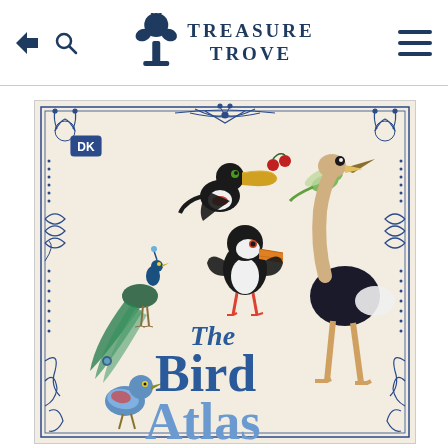TREASURE TROVE
[Figure (illustration): Book cover of 'The Bird Atlas' published by DK, featuring illustrated birds including a peacock, puffin, ostrich, toucan, hummingbird, and pigeon, with decorative blue botanical border on cream background.]